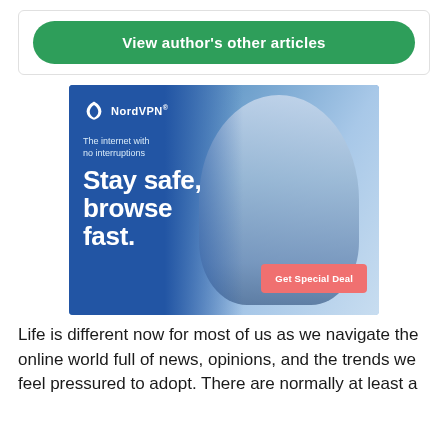View author's other articles
[Figure (infographic): NordVPN advertisement banner showing a woman looking at her phone with text 'The internet with no interruptions', 'Stay safe, browse fast.' and a 'Get Special Deal' button.]
Life is different now for most of us as we navigate the online world full of news, opinions, and the trends we feel pressured to adopt. There are normally at least a